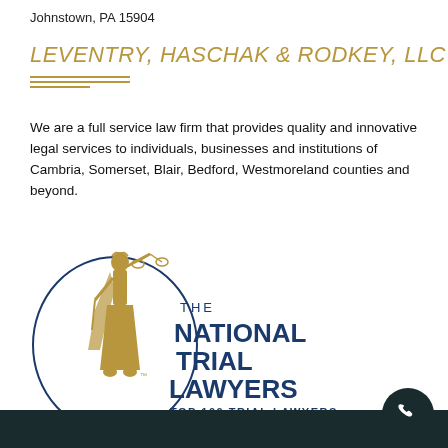Johnstown, PA 15904
LEVENTRY, HASCHAK & RODKEY, LLC
We are a full service law firm that provides quality and innovative legal services to individuals, businesses and institutions of Cambria, Somerset, Blair, Bedford, Westmoreland counties and beyond.
[Figure (logo): The National Trial Lawyers - Top 100 Trial Lawyers logo featuring Lady Justice figure in gold and circular ring in dark blue with text.]